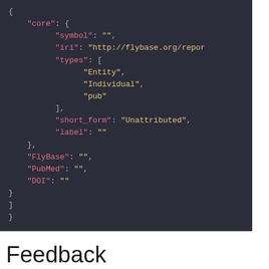[Figure (screenshot): JSON code block on dark background showing a JSON object with 'core' key containing 'symbol', 'iri', 'types', 'short_form', 'label' fields, plus 'FlyBase', 'PubMed', 'DOI' keys]
Feedback